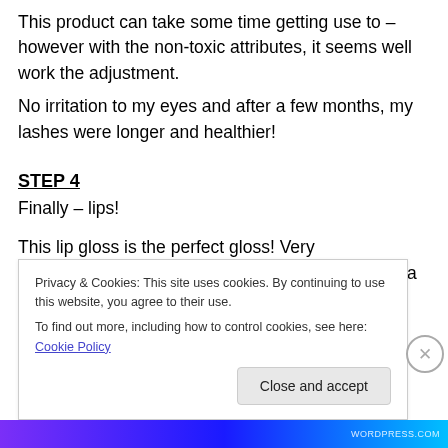This product can take some time getting use to – however with the non-toxic attributes, it seems well work the adjustment.
No irritation to my eyes and after a few months, my lashes were longer and healthier!
STEP 4
Finally – lips!
This lip gloss is the perfect gloss! Very moisturizing… and a treatment for your lips – with a great tint of color and not sticki
Privacy & Cookies: This site uses cookies. By continuing to use this website, you agree to their use.
To find out more, including how to control cookies, see here: Cookie Policy